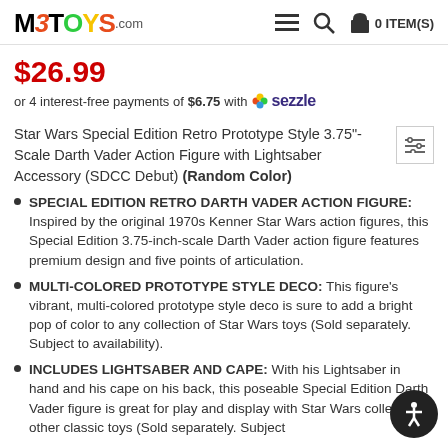M3TOYS.com — 0 ITEM(S)
$26.99
or 4 interest-free payments of $6.75 with Sezzle
Star Wars Special Edition Retro Prototype Style 3.75"-Scale Darth Vader Action Figure with Lightsaber Accessory (SDCC Debut) (Random Color)
SPECIAL EDITION RETRO DARTH VADER ACTION FIGURE: Inspired by the original 1970s Kenner Star Wars action figures, this Special Edition 3.75-inch-scale Darth Vader action figure features premium design and five points of articulation.
MULTI-COLORED PROTOTYPE STYLE DECO: This figure's vibrant, multi-colored prototype style deco is sure to add a bright pop of color to any collection of Star Wars toys (Sold separately. Subject to availability).
INCLUDES LIGHTSABER AND CAPE: With his Lightsaber in hand and his cape on his back, this poseable Special Edition Darth Vader figure is great for play and display with Star Wars collectors' other classic toys (Sold separately. Subject